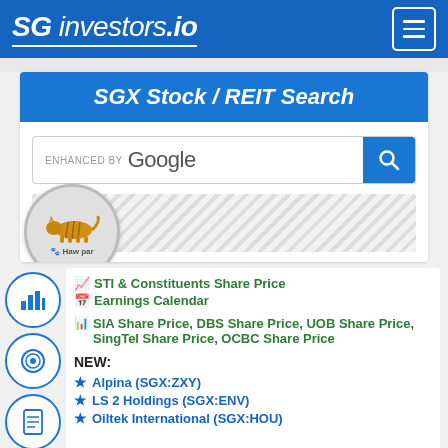SG investors.io
SGX Stock / REIT Search
[Figure (screenshot): Google enhanced search bar with blue search button]
[Figure (logo): Haw Par corporation logo with tiger in a circle]
STI & Constituents Share Price
Earnings Calendar
SIA Share Price, DBS Share Price, UOB Share Price, SingTel Share Price, OCBC Share Price
NEW:
Alpina (SGX:ZXY)
LS 2 Holdings (SGX:ENV)
Oiltek International (SGX:HOU)